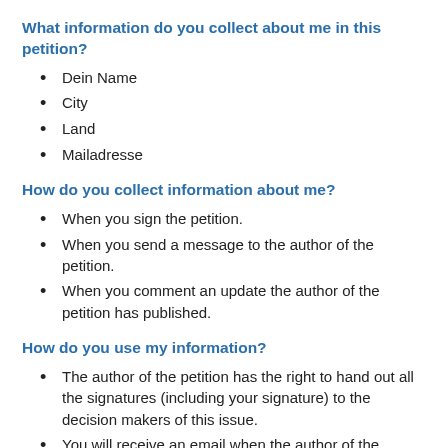What information do you collect about me in this petition?
Dein Name
City
Land
Mailadresse
How do you collect information about me?
When you sign the petition.
When you send a message to the author of the petition.
When you comment an update the author of the petition has published.
How do you use my information?
The author of the petition has the right to hand out all the signatures (including your signature) to the decision makers of this issue.
You will receive an email when the author of the